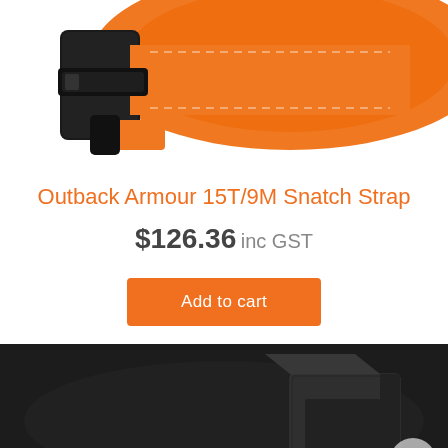[Figure (photo): Orange and black snatch strap product photo, partial view showing top portion of the strap with black binding and orange webbing]
Outback Armour 15T/9M Snatch Strap
$126.36 inc GST
[Figure (other): Orange 'Add to cart' button]
[Figure (photo): Dark background product photo showing a black box/packaging, partially visible. A light grey circular back-to-top arrow button is visible in the bottom right corner.]